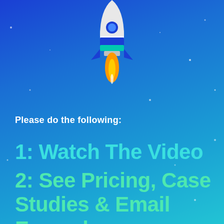[Figure (illustration): Cartoon rocket ship launching upward with orange flame, white and blue rocket body, on a blue gradient starry background]
Please do the following:
1: Watch The Video
2: See Pricing, Case Studies & Email Examples